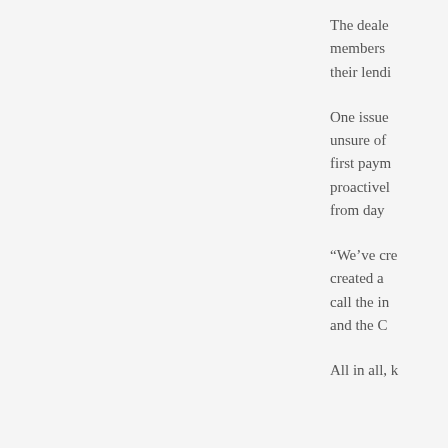The deale members their lendi
One issue unsure of first paym proactivel from day
“We’ve cre created a call the in and the C
All in all, k